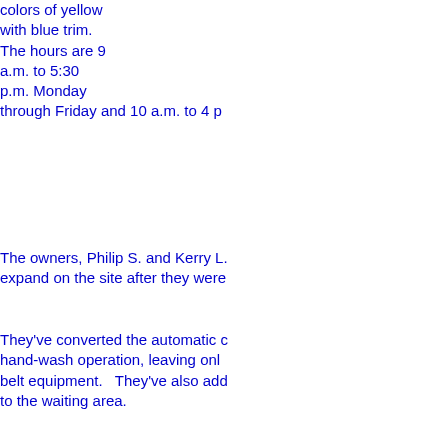colors of yellow with blue trim. The hours are 9 a.m. to 5:30 p.m. Monday through Friday and 10 a.m. to 4 p
The owners, Philip S. and Kerry L. expand on the site after they were
They've converted the automatic c hand-wash operation, leaving only belt equipment.   They've also add to the waiting area.
Car Wash Guys crews will wash a including boats, recreational vehic and horse trailers.
The prices range from $7 for a ca complete car detailing of the inter are the same at the Clarkston loc
All of the work is done with enviro products such as a soap made fro Workers use only two gallons of w vehicles.
The method was created by the fr Winslow, who started the busines where water is scarce.